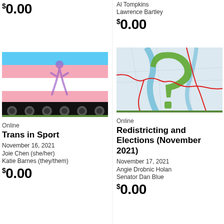$0.00
Al Tompkins
Lawrence Bartley
$0.00
[Figure (photo): A runner figure silhouetted against transgender flag colors (blue, pink, white stripes) with speakers at the bottom]
Online
Trans in Sport
November 16, 2021
Joie Chen (she/her)
Katie Barnes (they/them)
$0.00
[Figure (map): A map showing redistricting boundaries with a green question mark shape, red boundary lines, and blue waterways]
Online
Redistricting and Elections (November 2021)
November 17, 2021
Angie Drobnic Holan
Senator Dan Blue
$0.00